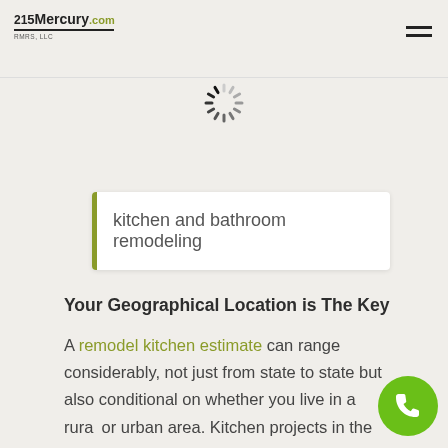215Mercury.com | RMRS, LLC
[Figure (other): Loading spinner icon in the header area]
kitchen and bathroom remodeling
Your Geographical Location is The Key
A remodel kitchen estimate can range considerably, not just from state to state but also conditional on whether you live in a rural or urban area. Kitchen projects in the South